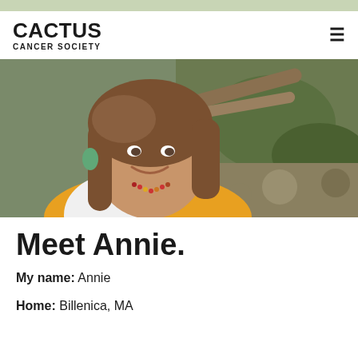CACTUS CANCER SOCIETY
[Figure (photo): A woman with long brown hair wearing a white and yellow long-sleeve shirt and a colorful beaded necklace and teal earrings, smiling at the camera outdoors near rocks and greenery]
Meet Annie.
My name: Annie
Home: Billenica, MA